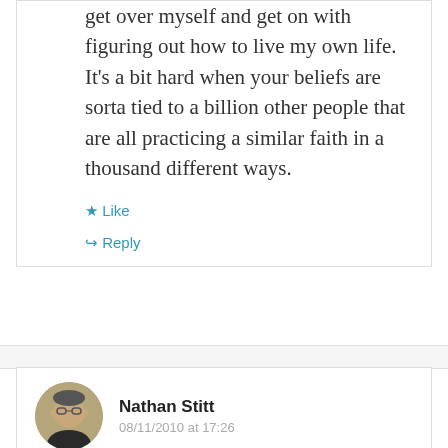get over myself and get on with figuring out how to live my own life. It’s a bit hard when your beliefs are sorta tied to a billion other people that are all practicing a similar faith in a thousand different ways.
★ Like
↪ Reply
Nathan Stitt
08/11/2010 at 17:26
I was raised with the Tithes & Offerings